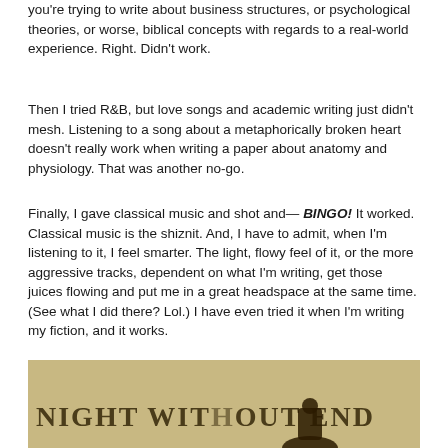you're trying to write about business structures, or psychological theories, or worse, biblical concepts with regards to a real-world experience. Right. Didn't work.
Then I tried R&B, but love songs and academic writing just didn't mesh. Listening to a song about a metaphorically broken heart doesn't really work when writing a paper about anatomy and physiology. That was another no-go.
Finally, I gave classical music and shot and— BINGO! It worked. Classical music is the shiznit. And, I have to admit, when I'm listening to it, I feel smarter. The light, flowy feel of it, or the more aggressive tracks, dependent on what I'm writing, get those juices flowing and put me in a great headspace at the same time. (See what I did there? Lol.) I have even tried it when I'm writing my fiction, and it works.
[Figure (photo): A book cover or album image with text reading 'NIGHT WITHOUT END' on a tan/golden background, with a dark silhouette at the bottom.]